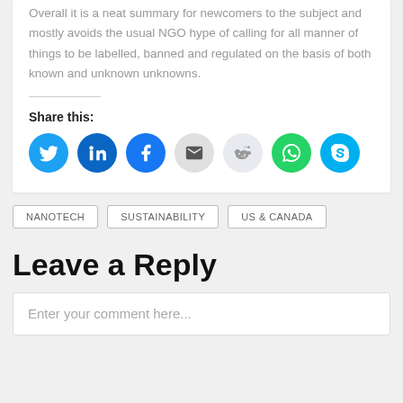Overall it is a neat summary for newcomers to the subject and mostly avoids the usual NGO hype of calling for all manner of things to be labelled, banned and regulated on the basis of both known and unknown unknowns.
Share this:
[Figure (infographic): Row of social media sharing icon circles: Twitter (blue), LinkedIn (dark blue), Facebook (blue), Email (grey), Reddit (light blue/grey), WhatsApp (green), Skype (cyan blue)]
NANOTECH  SUSTAINABILITY  US & CANADA
Leave a Reply
Enter your comment here...